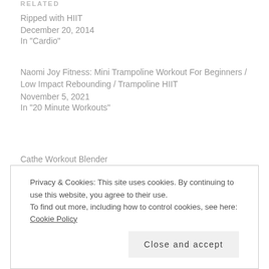RELATED
Ripped with HIIT
December 20, 2014
In "Cardio"
Naomi Joy Fitness: Mini Trampoline Workout For Beginners / Low Impact Rebounding / Trampoline HIIT
November 5, 2021
In "20 Minute Workouts"
Cathe Workout Blender
April 17, 2017
In "Cathe"
Privacy & Cookies: This site uses cookies. By continuing to use this website, you agree to their use.
To find out more, including how to control cookies, see here: Cookie Policy
Close and accept